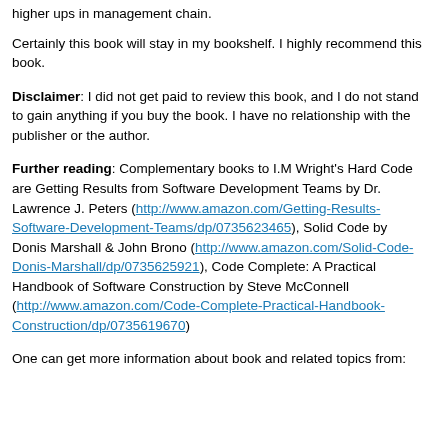higher ups in management chain.
Certainly this book will stay in my bookshelf. I highly recommend this book.
Disclaimer: I did not get paid to review this book, and I do not stand to gain anything if you buy the book. I have no relationship with the publisher or the author.
Further reading: Complementary books to I.M Wright’s Hard Code are Getting Results from Software Development Teams by Dr. Lawrence J. Peters (http://www.amazon.com/Getting-Results-Software-Development-Teams/dp/0735623465), Solid Code by Donis Marshall & John Brono (http://www.amazon.com/Solid-Code-Donis-Marshall/dp/0735625921), Code Complete: A Practical Handbook of Software Construction by Steve McConnell (http://www.amazon.com/Code-Complete-Practical-Handbook-Construction/dp/0735619670)
One can get more information about book and related topics from: